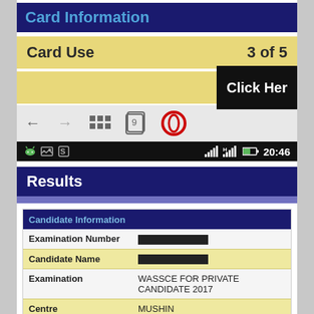Card Information
Card Use   3 of 5
Click Her
[Figure (screenshot): Android browser navigation bar with back, forward, grid, tab (9), and Opera browser icon]
[Figure (screenshot): Android status bar showing app icons, signal bars, battery, and time 20:46]
Results
| Field | Value |
| --- | --- |
| Examination Number | [REDACTED] |
| Candidate Name | [REDACTED] |
| Examination | WASSCE FOR PRIVATE CANDIDATE 2017 |
| Centre | MUSHIN |